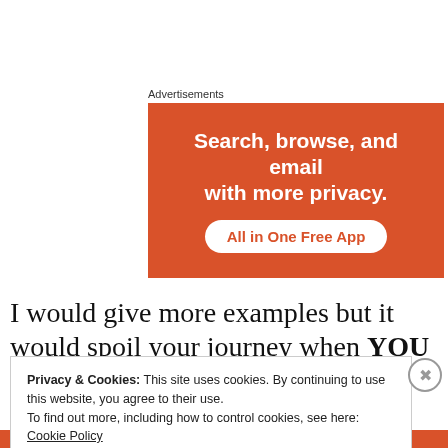Advertisements
[Figure (illustration): Orange advertisement banner with white bold text reading 'Search, browse, and email with more privacy.' and a white pill-shaped button with orange text 'All in One Free App']
I would give more examples but it would spoil your journey when YOU go to see the
Privacy & Cookies: This site uses cookies. By continuing to use this website, you agree to their use.
To find out more, including how to control cookies, see here:
Cookie Policy
Close and accept